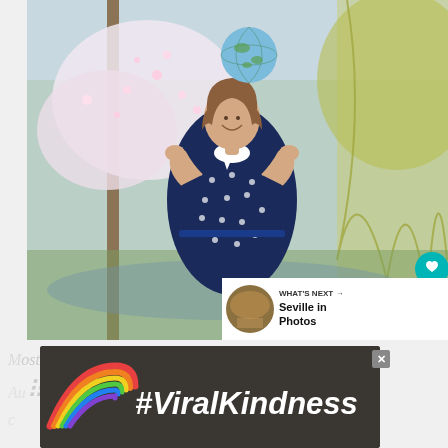[Figure (photo): A young woman in a navy blue polka-dot dress with a white collar tossing an inflatable globe upward in a park with cherry blossom trees and a weeping willow in the background. UI overlay shows a teal heart button and a white share button.]
[Figure (photo): WHAT'S NEXT panel: small circular thumbnail photo of what appears to be a Spanish plaza/building labeled 'Seville in Photos']
[Figure (screenshot): Advertisement banner with dark background showing a rainbow graphic on the left and the text #ViralKindness in large white italic text. Close button (X) in upper right of banner.]
journalist badge watermark text (partially visible behind ad)